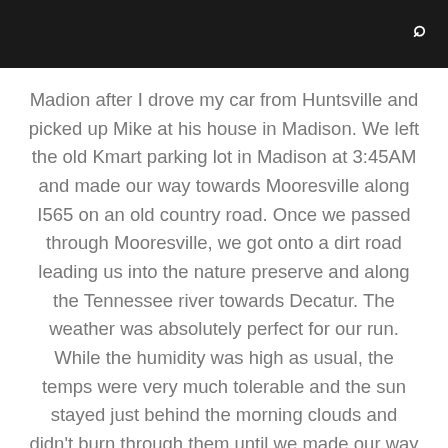Madion after I drove my car from Huntsville and picked up Mike at his house in Madison. We left the old Kmart parking lot in Madison at 3:45AM and made our way towards Mooresville along I565 on an old country road. Once we passed through Mooresville, we got onto a dirt road leading us into the nature preserve and along the Tennessee river towards Decatur. The weather was absolutely perfect for our run. While the humidity was high as usual, the temps were very much tolerable and the sun stayed just behind the morning clouds and didn't burn through them until we made our way back from Decatur on our mountain bikes.